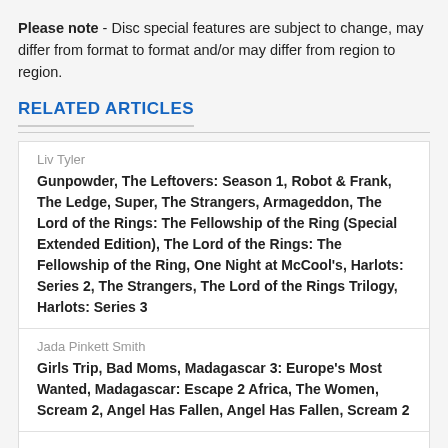Please note - Disc special features are subject to change, may differ from format to format and/or may differ from region to region.
RELATED ARTICLES
Liv Tyler
Gunpowder, The Leftovers: Season 1, Robot & Frank, The Ledge, Super, The Strangers, Armageddon, The Lord of the Rings: The Fellowship of the Ring (Special Extended Edition), The Lord of the Rings: The Fellowship of the Ring, One Night at McCool's, Harlots: Series 2, The Strangers, The Lord of the Rings Trilogy, Harlots: Series 3
Jada Pinkett Smith
Girls Trip, Bad Moms, Madagascar 3: Europe's Most Wanted, Madagascar: Escape 2 Africa, The Women, Scream 2, Angel Has Fallen, Angel Has Fallen, Scream 2